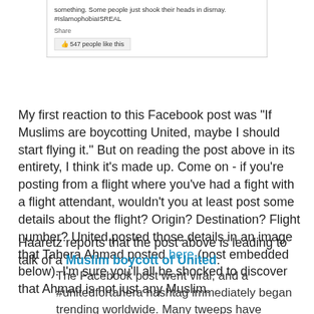[Figure (screenshot): Facebook post snippet showing text about something, hashtag #IslamophobiaISREAL, Share link, and 547 people like this button]
My first reaction to this Facebook post was "If Muslims are boycotting United, maybe I should start flying it." But on reading the post above in its entirety, I think it's made up. Come on - if you're posting from a flight where you've had a fight with a flight attendant, wouldn't you at least post some details about the flight? Origin? Destination? Flight number? United posted those details in an image that Tahera Ahmad posted here (post embedded below). I'm sure you'll all be shocked to discover that Ahmad is not just any Muslim.
Haaretz reports that the post above is leading to talk of a Muslim boycott of United.
The Facebook post went viral, and a #unitedfortahera hashtag immediately began trending worldwide. Many tweeps have threatened to boycott the airline until it issued Ahmad a formal apology.